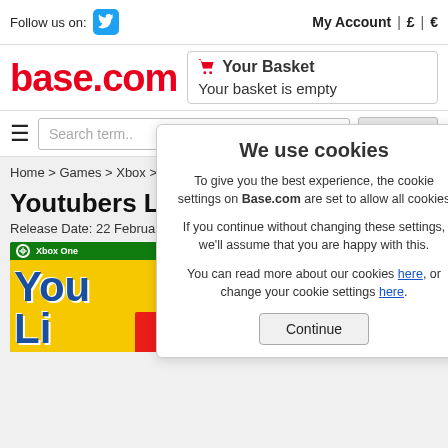Follow us on: [Twitter] | My Account | £ | €
[Figure (logo): base.com logo in red text]
Your Basket
Your basket is empty
Search term.. [Search]
Home > Games > Xbox > Xbox One Games
Youtubers Life
Release Date: 22 February 202
[Figure (photo): Xbox One game box for Youtubers Life showing yellow and green packaging with 'You' and 'Li' visible]
We use cookies

To give you the best experience, the cookie settings on Base.com are set to allow all cookies

If you continue without changing these settings, we'll assume that you are happy with this.

You can read more about our cookies here, or change your cookie settings here.

Continue